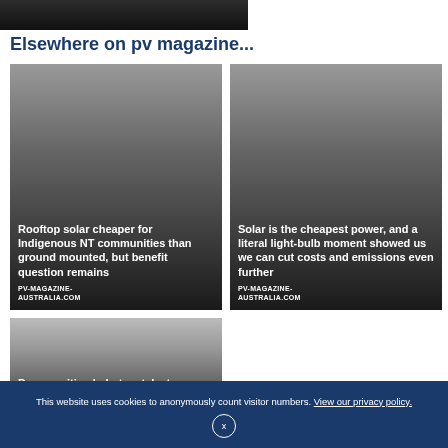[Figure (photo): Dark partial image at top of page, cropped]
Elsewhere on pv magazine...
[Figure (photo): Article card with dark gradient background. Title: Rooftop solar cheaper for Indigenous NT communities than ground mounted, but benefit question remains. Source: PV-MAGAZINE-AUSTRALIA.COM]
[Figure (photo): Article card with dark gradient background. Title: Solar is the cheapest power, and a literal light-bulb moment showed us we can cut costs and emissions even further. Source: PV-MAGAZINE-AUSTRALIA.COM]
[Figure (photo): Article card with gradient background. Title begins: Dye-sensitised photocatalyst promises]
This website uses cookies to anonymously count visitor numbers. View our privacy policy.